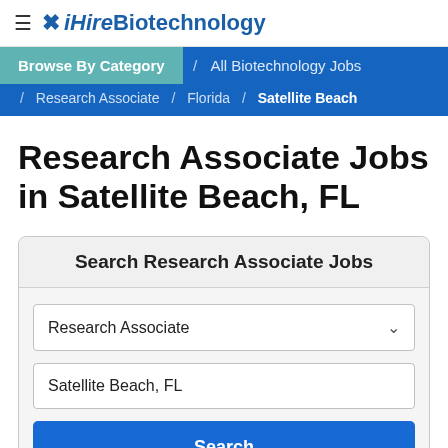≡ iHireBiotechnology
Browse By Category / All Biotechnology Jobs / Research Associate / Florida / Satellite Beach
Research Associate Jobs in Satellite Beach, FL
Search Research Associate Jobs
Research Associate
Satellite Beach, FL
Search